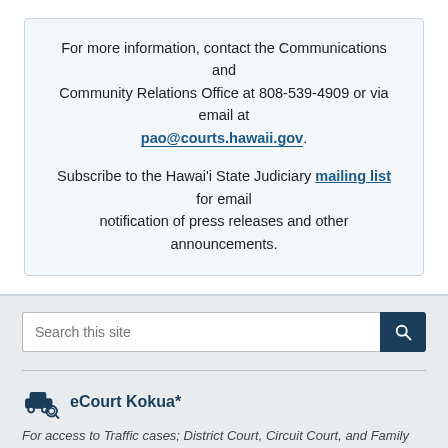For more information, contact the Communications and Community Relations Office at 808-539-4909 or via email at pao@courts.hawaii.gov. Subscribe to the Hawai'i State Judiciary mailing list for email notification of press releases and other announcements.
[Figure (infographic): Search bar with text input and dark blue search button with magnifying glass icon]
eCourt Kokua*
For access to Traffic cases; District Court, Circuit Court, and Family Court criminal; District Court, Circuit Court civil, and Family Court civil; Land Court and Tax Appeal Court; and appellate court case information.
Jobs
Search for jobs at the Judiciary